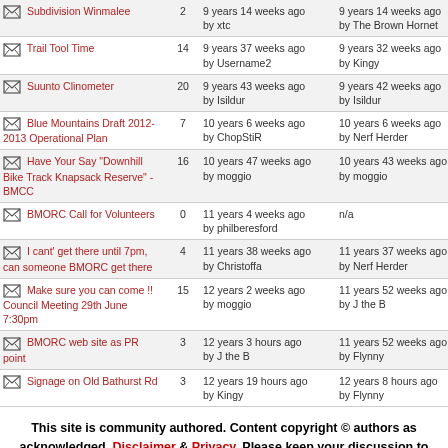| Topic | Replies | Created | Last Reply |
| --- | --- | --- | --- |
| Subdivision Winmalee | 2 | 9 years 14 weeks ago by xtc | 9 years 14 weeks ago by The Brown Hornet |
| Trail Tool Time | 14 | 9 years 37 weeks ago by Username2 | 9 years 32 weeks ago by Kingy |
| Suunto Clinometer | 20 | 9 years 43 weeks ago by Isildur | 9 years 42 weeks ago by Isildur |
| Blue Mountains Draft 2012-2013 Operational Plan | 7 | 10 years 6 weeks ago by ChopStiR | 10 years 6 weeks ago by Nerf Herder |
| Have Your Say "Downhill Bike Track Knapsack Reserve" - BMCC | 16 | 10 years 47 weeks ago by moggio | 10 years 43 weeks ago by moggio |
| BMORC Call for Volunteers | 0 | 11 years 4 weeks ago by philberesford | n/a |
| I cant' get there until 7pm, can someone BMORC get there | 4 | 11 years 38 weeks ago by Christoffa | 11 years 37 weeks ago by Nerf Herder |
| Make sure you can come !! Council Meeting 29th June 7:30pm | 15 | 12 years 2 weeks ago by moggio | 11 years 52 weeks ago by J the B |
| BMORC web site as PR point | 3 | 12 years 3 hours ago by J the B | 11 years 52 weeks ago by Flynny |
| Signage on Old Bathurst Rd | 3 | 12 years 19 hours ago by Kingy | 12 years 8 hours ago by Flynny |
This site is community authored. Content copyright © authors as acknowledged. Disclaimer & Privacy. Please keep your discussion to MTB related topics and ride the trails with respect.